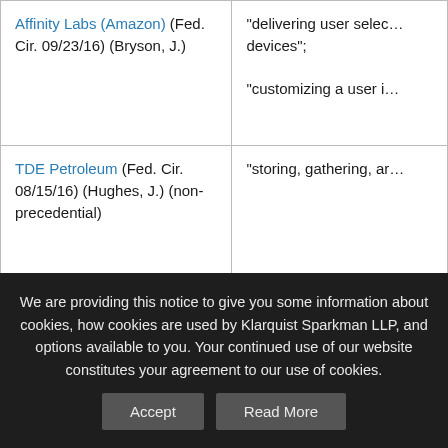| Case | Abstract/Claim Language |
| --- | --- |
| Affinity Labs (Amazon) (Fed. Cir. 09/23/16) (Bryson, J.) | "delivering user selected audio to ... devices";
"customizing a user i..." |
| TDE Petroleum (Fed. Cir. 08/15/16) (Hughes, J.) (non-precedential) | "storing, gathering, ar..." |
| Elec. Power (Fed. Cir. 08/01/16) (Taranto, J.) | "collecting informatio... certain results of the..." |
| LendingTree (Fed. Cir. 07/25/16) (Schall, J.) (non- | "a loan-application cle... coordinating loans" [M... |
We are providing this notice to give you some information about cookies, how cookies are used by Klarquist Sparkman LLP, and options available to you. Your continued use of our website constitutes your agreement to our use of cookies.